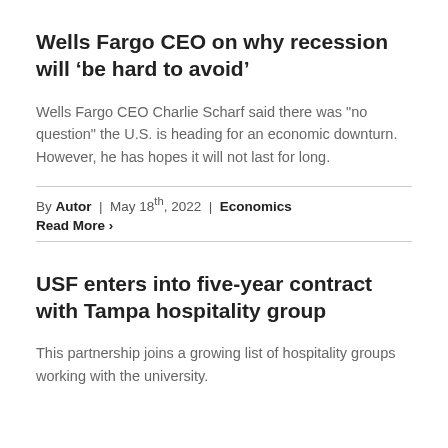Wells Fargo CEO on why recession will ‘be hard to avoid’
Wells Fargo CEO Charlie Scharf said there was "no question" the U.S. is heading for an economic downturn. However, he has hopes it will not last for long.
By Autor | May 18th, 2022 | Economics
Read More >
USF enters into five-year contract with Tampa hospitality group
This partnership joins a growing list of hospitality groups working with the university.